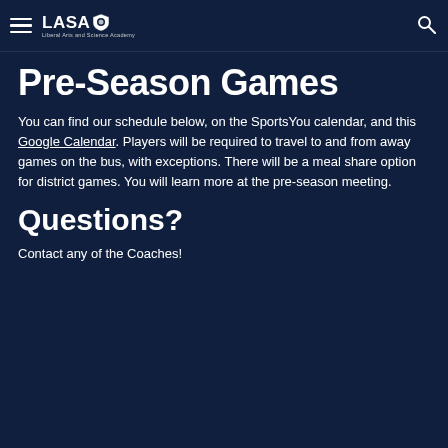LASA Liberal Arts and Science Academy
Pre-Season Games
You can find our schedule below, on the SportsYou calendar, and this Google Calendar. Players will be required to travel to and from away games on the bus, with exceptions. There will be a meal share option for district games. You will learn more at the pre-season meeting.
Questions?
Contact any of the Coaches!